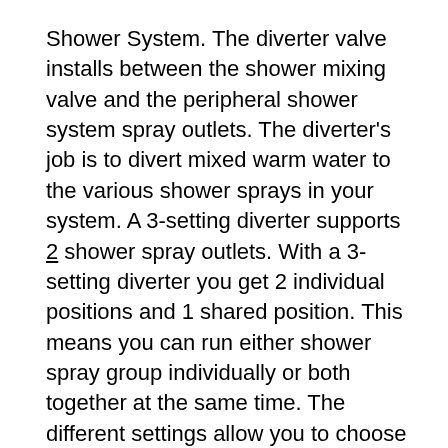Shower System. The diverter valve installs between the shower mixing valve and the peripheral shower system spray outlets. The diverter's job is to divert mixed warm water to the various shower sprays in your system. A 3-setting diverter supports 2 shower spray outlets. With a 3-setting diverter you get 2 individual positions and 1 shared position. This means you can run either shower spray group individually or both together at the same time. The different settings allow you to choose which shower spray heads will be on at any given time. **NOTE** You can NOT add additional spray outlets to this shower system as the diverter will not support them!
Water Restrictions: Make sure to check local plumbing codes in your area before purchasing. This package may not be approved for use in regions with stricter water conservation regulations (e.g.,